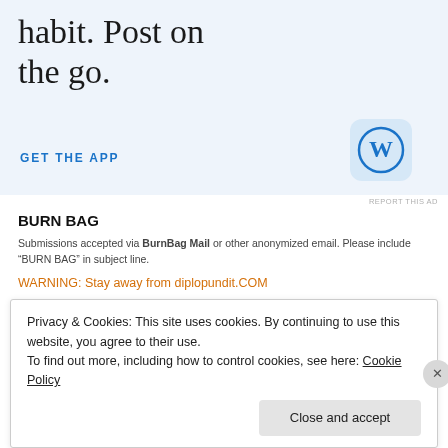[Figure (illustration): WordPress advertisement banner with light blue background showing partial text 'habit. Post on the go.', a 'GET THE APP' link in blue, and the WordPress logo icon (blue W in a circle on a light blue rounded square background).]
REPORT THIS AD
BURN BAG
Submissions accepted via BurnBag Mail or other anonymized email. Please include “BURN BAG” in subject line.
WARNING: Stay away from diplopundit.COM
Privacy & Cookies: This site uses cookies. By continuing to use this website, you agree to their use.
To find out more, including how to control cookies, see here: Cookie Policy